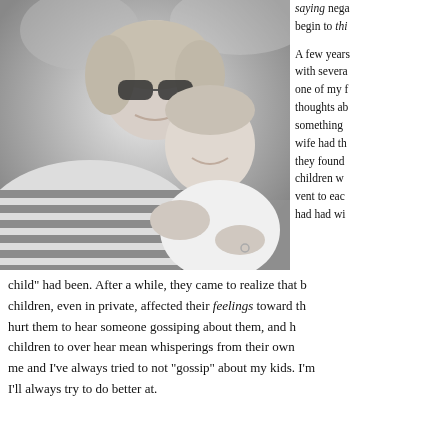[Figure (photo): Black and white photo of a woman wearing sunglasses and a striped shirt, smiling and nuzzling a young child who is smiling back at her.]
saying nega begin to thr A few years with severa one of my f thoughts ab something wife had th they found children w vent to eac had had wi
child" had been. After a while, they came to realize that b children, even in private, affected their feelings toward th hurt them to hear someone gossiping about them, and h children to over hear mean whisperings from their own me and I've always tried to not "gossip" about my kids. I'm I'll always try to do better at.